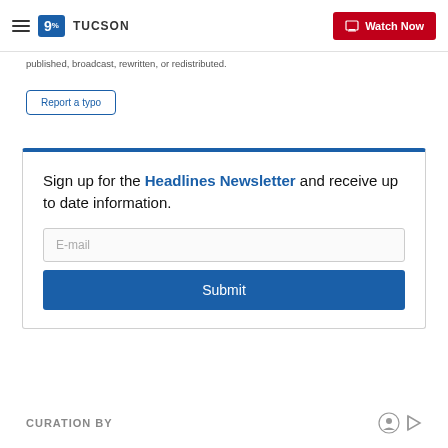9 TUCSON | Watch Now
published, broadcast, rewritten, or redistributed.
Report a typo
Sign up for the Headlines Newsletter and receive up to date information.
CURATION BY